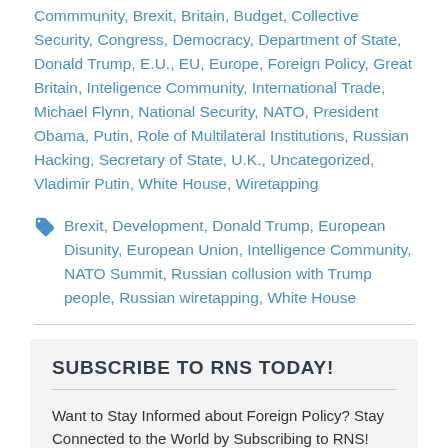Commmunity, Brexit, Britain, Budget, Collective Security, Congress, Democracy, Department of State, Donald Trump, E.U., EU, Europe, Foreign Policy, Great Britain, Inteligence Community, International Trade, Michael Flynn, National Security, NATO, President Obama, Putin, Role of Multilateral Institutions, Russian Hacking, Secretary of State, U.K., Uncategorized, Vladimir Putin, White House, Wiretapping
Brexit, Development, Donald Trump, European Disunity, European Union, Intelligence Community, NATO Summit, Russian collusion with Trump people, Russian wiretapping, White House
SUBSCRIBE TO RNS TODAY!
Want to Stay Informed about Foreign Policy? Stay Connected to the World by Subscribing to RNS!